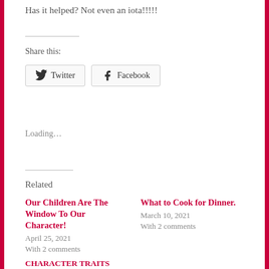Has it helped? Not even an iota!!!!!
Share this:
Twitter
Facebook
Loading...
Related
Our Children Are The Window To Our Character!
April 25, 2021
With 2 comments
What to Cook for Dinner.
March 10, 2021
With 2 comments
CHARACTER TRAITS
October 27, 2020